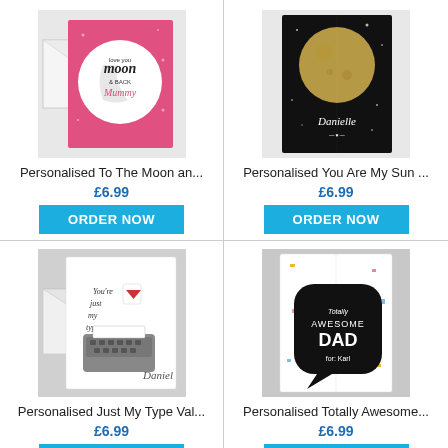[Figure (photo): Pink greeting card reading 'Love You to the Moon & Back Mummy' with white envelope]
Personalised To The Moon an...
£6.99
ORDER NOW
[Figure (photo): Black greeting card with gold moon and stars reading 'Danielle' personalised]
Personalised You Are My Sun ...
£6.99
ORDER NOW
[Figure (photo): White greeting card with typewriter illustration reading 'You're just my type Daniel']
Personalised Just My Type Val...
£6.99
[Figure (photo): White greeting card with black speech bubble reading 'Totally Awesome DAD' personalised]
Personalised Totally Awesome...
£6.99